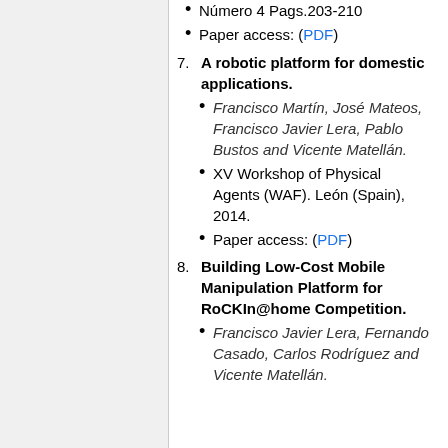Número 4 Pags.203-210
Paper access: (PDF)
7. A robotic platform for domestic applications.
Francisco Martín, José Mateos, Francisco Javier Lera, Pablo Bustos and Vicente Matellán.
XV Workshop of Physical Agents (WAF). León (Spain), 2014.
Paper access: (PDF)
8. Building Low-Cost Mobile Manipulation Platform for RoCKIn@home Competition.
Francisco Javier Lera, Fernando Casado, Carlos Rodríguez and Vicente Matellán.